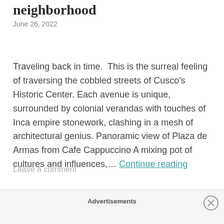neighborhood
June 26, 2022
Traveling back in time.  This is the surreal feeling of traversing the cobbled streets of Cusco's Historic Center. Each avenue is unique, surrounded by colonial verandas with touches of Inca empire stonework, clashing in a mesh of architectural genius. Panoramic view of Plaza de Armas from Cafe Cappuccino A mixing pot of cultures and influences,… Continue reading
Leave a comment
Advertisements